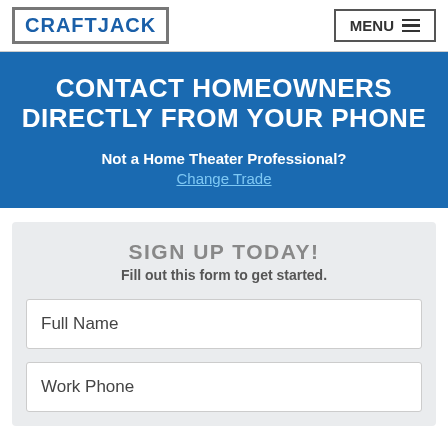CRAFTJACK  MENU
CONTACT HOMEOWNERS DIRECTLY FROM YOUR PHONE
Not a Home Theater Professional? Change Trade
SIGN UP TODAY!
Fill out this form to get started.
Full Name
Work Phone